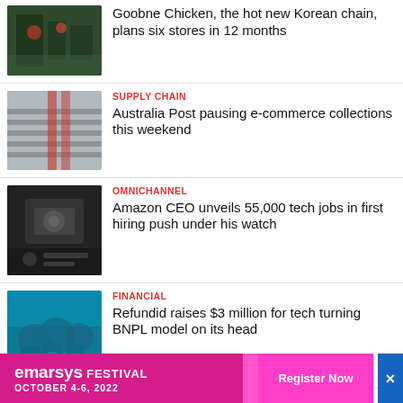[Figure (photo): Restaurant or retail store interior thumbnail]
Goobne Chicken, the hot new Korean chain, plans six stores in 12 months
[Figure (photo): Industrial conveyor belt machine thumbnail]
SUPPLY CHAIN
Australia Post pausing e-commerce collections this weekend
[Figure (photo): Person holding Amazon package thumbnail]
OMNICHANNEL
Amazon CEO unveils 55,000 tech jobs in first hiring push under his watch
[Figure (photo): Group of three young men smiling, Refundid team]
FINANCIAL
Refundid raises $3 million for tech turning BNPL model on its head
[Figure (photo): Shopping centre exterior]
SHOPPING CENTRES & MALLS
[Figure (infographic): Emarsys Festival advertisement banner — October 4-6, 2022 — Register Now]